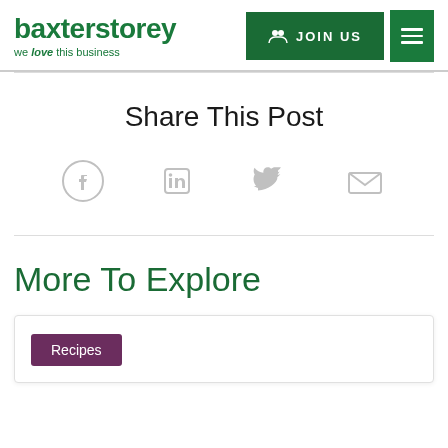[Figure (logo): BaxterStorey logo with green text and tagline 'we love this business']
[Figure (screenshot): JOIN US green button with people icon and hamburger menu button]
Share This Post
[Figure (illustration): Social media share icons: Facebook, LinkedIn, Twitter, Email - all in light grey]
More To Explore
Recipes